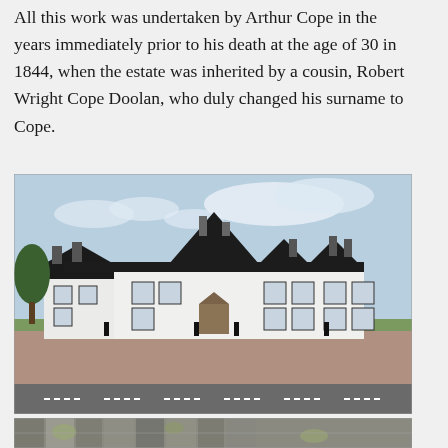All this work was undertaken by Arthur Cope in the years immediately prior to his death at the age of 30 in 1844, when the estate was inherited by a cousin, Robert Wright Cope Doolan, who duly changed his surname to Cope.
[Figure (photo): Photograph of a large white Victorian-style country house or manor with multiple gabled roofs, dark slate roofing, chimneys, and a decorative Gothic-style porch entrance. The building is set behind a wide gravel forecourt with a road in the foreground.]
[Figure (photo): Partial photograph showing close-up stonework, possibly an arch or architectural detail with lichen-covered stone.]